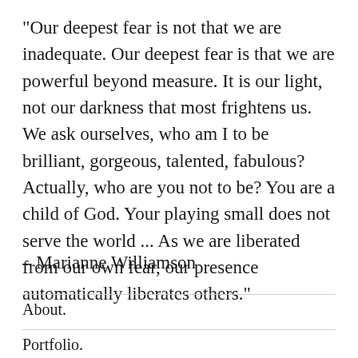"Our deepest fear is not that we are inadequate. Our deepest fear is that we are powerful beyond measure. It is our light, not our darkness that most frightens us. We ask ourselves, who am I to be brilliant, gorgeous, talented, fabulous? Actually, who are you not to be? You are a child of God. Your playing small does not serve the world ... As we are liberated from our own fear, our presence automatically liberates others."
- Marianne Williamson
About.
Portfolio.